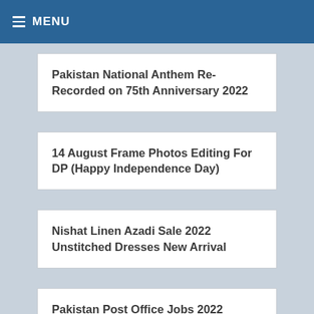MENU
Pakistan National Anthem Re-Recorded on 75th Anniversary 2022
14 August Frame Photos Editing For DP (Happy Independence Day)
Nishat Linen Azadi Sale 2022 Unstitched Dresses New Arrival
Pakistan Post Office Jobs 2022 Advertisement Online Apply